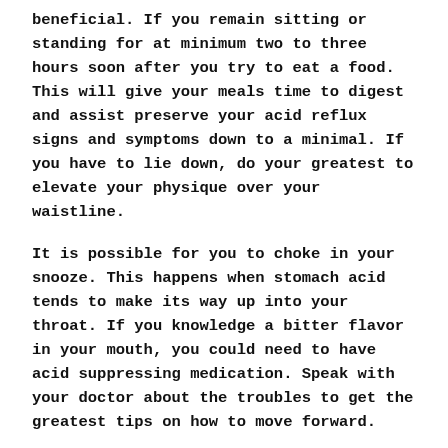beneficial. If you remain sitting or standing for at minimum two to three hours soon after you try to eat a food. This will give your meals time to digest and assist preserve your acid reflux signs and symptoms down to a minimal. If you have to lie down, do your greatest to elevate your physique over your waistline.
It is possible for you to choke in your snooze. This happens when stomach acid tends to make its way up into your throat. If you knowledge a bitter flavor in your mouth, you could need to have acid suppressing medication. Speak with your doctor about the troubles to get the greatest tips on how to move forward.
If http://adrestyt.ru/user/toastsyrup0/ got been wondering how to get rid of acid reflux, then you have identified the proper information. Set the suggestions that you have